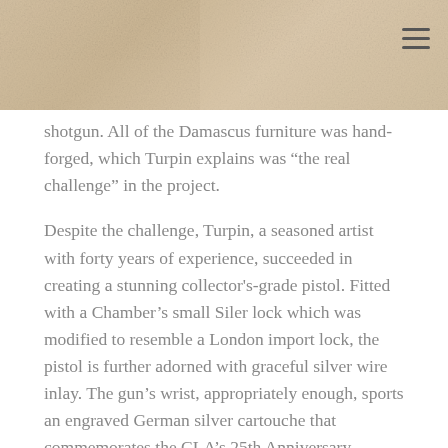[Figure (photo): Decorative banner image with beige/tan textured background, with a hamburger menu icon (three horizontal lines) in the top right corner.]
shotgun. All of the Damascus furniture was hand-forged, which Turpin explains was “the real challenge” in the project.
Despite the challenge, Turpin, a seasoned artist with forty years of experience, succeeded in creating a stunning collector's-grade pistol. Fitted with a Chamber’s small Siler lock which was modified to resemble a London import lock, the pistol is further adorned with graceful silver wire inlay. The gun’s wrist, appropriately enough, sports an engraved German silver cartouche that commemorates the CLA’s 25th Anniversary.
Turpin explains that the annual CLA show “is the greatest gathering of America’s best artists.” But like any accomplished artist, Turpin strives to continually hone his craft. “This is a time for me to grow as an artist,” he says, “I have met some great people there and made many new